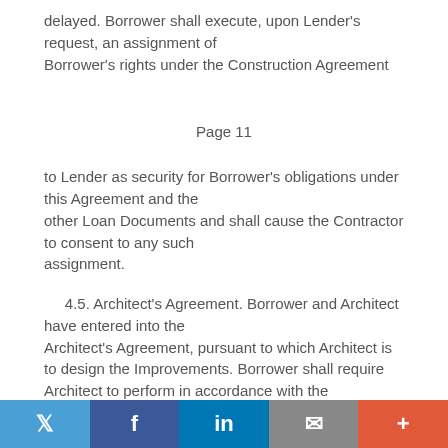delayed. Borrower shall execute, upon Lender's request, an assignment of Borrower's rights under the Construction Agreement
Page 11
to Lender as security for Borrower's obligations under this Agreement and the other Loan Documents and shall cause the Contractor to consent to any such assignment.
4.5. Architect's Agreement. Borrower and Architect have entered into the Architect's Agreement, pursuant to which Architect is to design the Improvements. Borrower shall require Architect to perform in accordance with the terms of the Architect's Agreement and shall not amend, modify or alter the